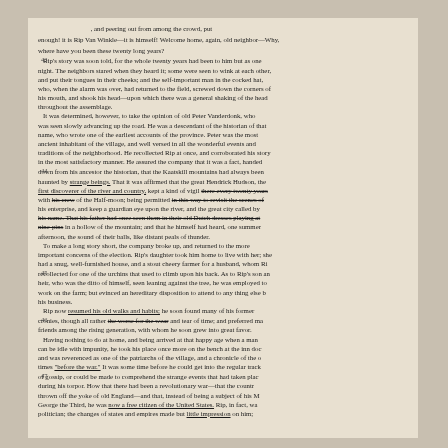enough! it is Rip Van Winkle—it is himself! Welcome home, again, old neighbor—Why, where have you been these twenty long years?
Rip's story was soon told, for the whole twenty years had been to him but as one night. The neighbors stared when they heard it; some were seen to wink at each other, and put their tongues in their cheeks; and the self-important man in the cocked hat, who, when the alarm was over, had returned to the field, screwed down the corners of his mouth, and shook his head—upon which there was a general shaking of the head throughout the assemblage.
It was determined, however, to take the opinion of old Peter Vanderdonk, who was seen slowly advancing up the road. He was a descendant of the historian of that name, who wrote one of the earliest accounts of the province. Peter was the most ancient inhabitant of the village, and well versed in all the wonderful events and traditions of the neighborhood. He recollected Rip at once, and corroborated his story in the most satisfactory manner. He assured the company that it was a fact, handed down from his ancestor the historian, that the Kaatskill mountains had always been haunted by strange beings. That it was affirmed that the great Hendrick Hudson, the first discoverer of the river and country, kept a kind of vigil there every twenty years with his crew of the Half-moon; being permitted in this way to revisit the scenes of his enterprise, and keep a guardian eye upon the river, and the great city called by his name. That his father had once seen them in their old Dutch dresses playing at nine-pins in a hollow of the mountain; and that he himself had heard, one summer afternoon, the sound of their balls, like distant peals of thunder.
To make a long story short, the company broke up, and returned to the more important concerns of the election. Rip's daughter took him home to live with her; she had a snug, well-furnished house, and a stout cheery farmer for a husband, whom Rip recollected for one of the urchins that used to climb upon his back. As to Rip's son and heir, who was the ditto of himself, seen leaning against the tree, he was employed to work on the farm; but evinced an hereditary disposition to attend to any thing else but his business.
Rip now resumed his old walks and habits; he soon found many of his former cronies, though all rather the worse for the wear and tear of time; and preferred making friends among the rising generation, with whom he soon grew into great favor.
Having nothing to do at home, and being arrived at that happy age when a man can be idle with impunity, he took his place once more on the bench at the inn door, and was reverenced as one of the patriarchs of the village, and a chronicle of the old times "before the war." It was some time before he could get into the regular track of gossip, or could be made to comprehend the strange events that had taken place during his torpor. How that there had been a revolutionary war—that the country during his torpor. How that, instead of being a subject of his Majesty thrown off the yoke of old England—and that, instead of being a subject of his Majesty George the Third, he was now a free citizen of the United States. Rip, in fact, was George the Third, he was now a free citizen of the United States. Rip, in fact, was politician; the changes of states and empires made but little impression on him; but there was one species of despotism under which he had long groaned, and that